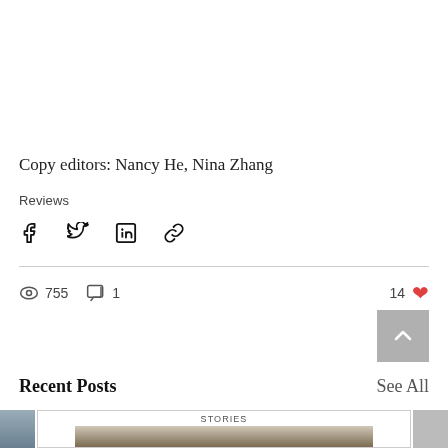Copy editors: Nancy He, Nina Zhang
Reviews
[Figure (infographic): Social share icons: Facebook, Twitter, LinkedIn, link/chain icon]
755 views, 1 comment, 14 likes
[Figure (infographic): Back to top button (grey square with upward chevron)]
Recent Posts
See All
[Figure (photo): Three thumbnail images at the bottom: left partial thumbnail, center showing 'Stories' label with image of rounded white objects, right partial thumbnail]